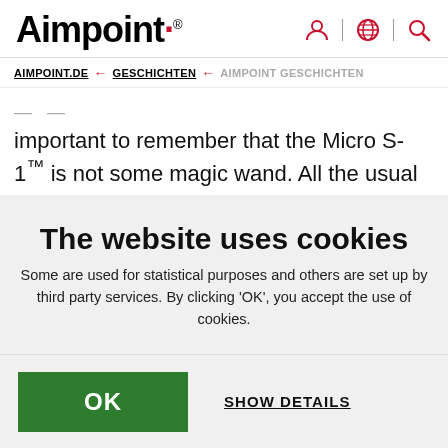Aimpoint
AIMPOINT.DE ← GESCHICHTEN ← AIMPOINT GESCHICHTEN
important to remember that the Micro S-1™ is not some magic wand. All the usual rules of shotgun
The website uses cookies
Some are used for statistical purposes and others are set up by third party services. By clicking 'OK', you accept the use of cookies.
OK
SHOW DETAILS